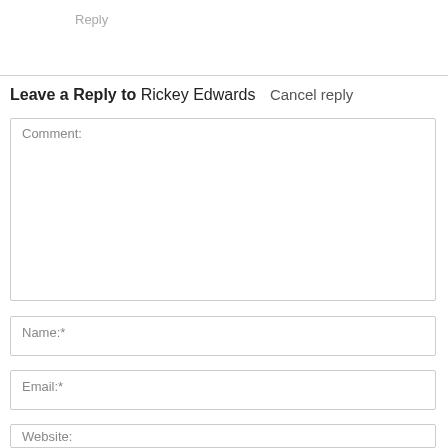Reply
Leave a Reply to Rickey Edwards  Cancel reply
Comment:
Name:*
Email:*
Website: